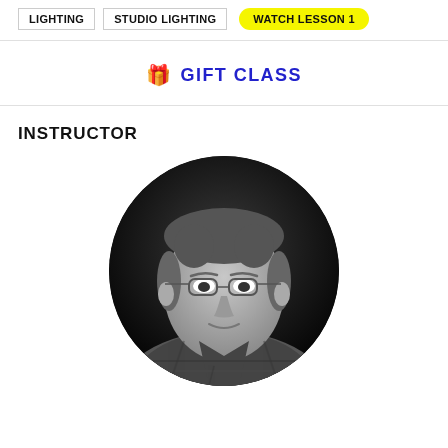LIGHTING
STUDIO LIGHTING
WATCH LESSON 1
🎁 GIFT CLASS
INSTRUCTOR
[Figure (photo): Black and white circular portrait photo of a middle-aged man with glasses and a plaid shirt, smiling slightly, photographed against a dark background in studio lighting.]